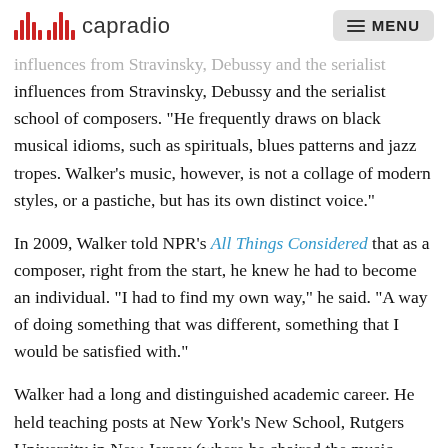capradio  MENU
influences from Stravinsky, Debussy and the serialist school of composers. "He frequently draws on black musical idioms, such as spirituals, blues patterns and jazz tropes. Walker's music, however, is not a collage of modern styles, or a pastiche, but has its own distinct voice."
In 2009, Walker told NPR's All Things Considered that as a composer, right from the start, he knew he had to become an individual. "I had to find my own way," he said. "A way of doing something that was different, something that I would be satisfied with."
Walker had a long and distinguished academic career. He held teaching posts at New York's New School, Rutgers University in New Jersey (where he chaired the music department), the University of Colorado, the Peabody